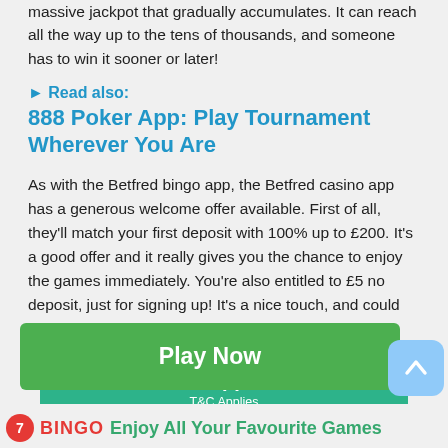massive jackpot that gradually accumulates. It can reach all the way up to the tens of thousands, and someone has to win it sooner or later!
▶ Read also:
888 Poker App: Play Tournament Wherever You Are
As with the Betfred bingo app, the Betfred casino app has a generous welcome offer available. First of all, they'll match your first deposit with 100% up to £200. It's a good offer and it really gives you the chance to enjoy the games immediately. You're also entitled to £5 no deposit, just for signing up! It's a nice touch, and could potentially make a difference.
[Figure (other): Teal/green Get App button with sub-label T&C Applies]
[Figure (other): Blue Visit Site & Claim Bonus button with arrow]
[Figure (other): Green Play Now bar button overlaid at bottom]
[Figure (other): Light blue scroll-to-top arrow button at bottom right]
⑦ BINGO Enjoy All Your Favourite Games